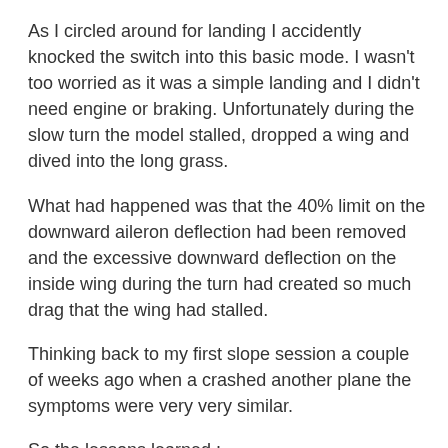As I circled around for landing I accidently knocked the switch into this basic mode. I wasn't too worried as it was a simple landing and I didn't need engine or braking. Unfortunately during the slow turn the model stalled, dropped a wing and dived into the long grass.
What had happened was that the 40% limit on the downward aileron deflection had been removed and the excessive downward deflection on the inside wing during the turn had created so much drag that the wing had stalled.
Thinking back to my first slope session a couple of weeks ago when a crashed another plane the symptoms were very very similar.
So the lessons learned :
1) aileron differential is very important